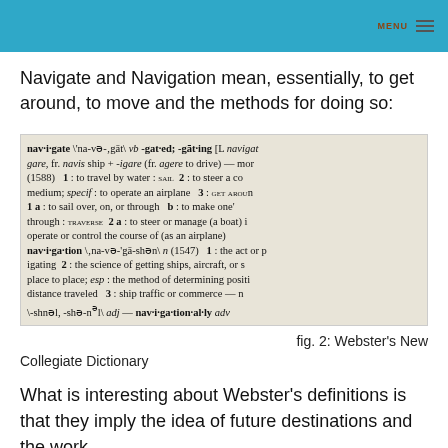MENU
Navigate and Navigation mean, essentially, to get around, to move and the methods for doing so:
[Figure (photo): A photograph of a dictionary page showing entries for 'navigate' and 'navigation' from Webster's New Collegiate Dictionary. The entry for navigate shows pronunciation, verb forms -gated; -gating, etymology from Latin navigare, fr. navis ship + -igare (fr. agere to drive), and definitions including: 1: to travel by water: SAIL  2: to steer a course through medium; specif: to operate an airplane  3: GET AROUND  1a: to sail over, on, or through  b: to make one's way through: TRAVERSE  2a: to steer or manage (a boat)  operate or control the course of (as an airplane). The navigation entry shows pronunciation, noun (1547), with definitions: 1: the act or process of navigating  2: the science of getting ships, aircraft, or spacecraft from place to place; esp: the method of determining position, course, and distance traveled  3: ship traffic or commerce — nav-i-ga-tion-al-ly adv]
fig. 2: Webster's New Collegiate Dictionary
What is interesting about Webster's definitions is that they imply the idea of future destinations and the work